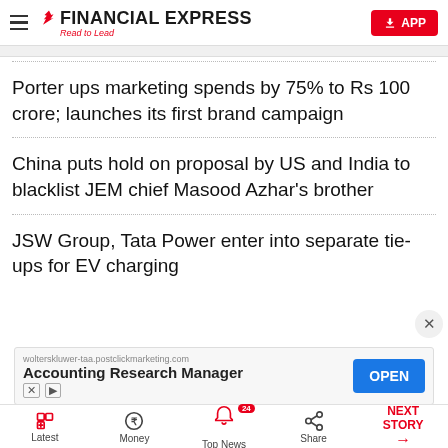FINANCIAL EXPRESS – Read to Lead
Porter ups marketing spends by 75% to Rs 100 crore; launches its first brand campaign
China puts hold on proposal by US and India to blacklist JEM chief Masood Azhar's brother
JSW Group, Tata Power enter into separate tie-ups for EV charging
[Figure (screenshot): Advertisement banner for Accounting Research Manager from wolterskluwer-taa.postclickmarketing.com with an OPEN button]
Latest | Money | Top News (24) | Share | NEXT STORY